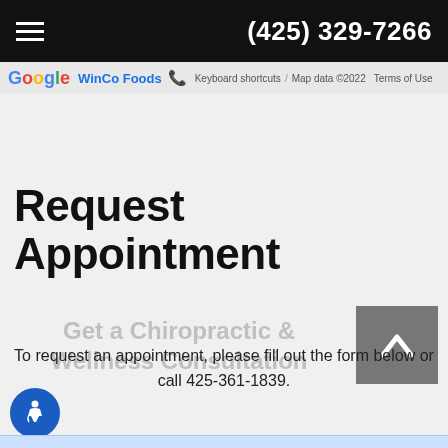(425) 329-7266
[Figure (screenshot): Google Maps bar showing WinCo Foods label, Keyboard shortcuts, Map data ©2022, Terms of Use]
Request Appointment
Get a Chiropractic & Wellness Consultation
To request an appointment, please fill out the form below or call 425-361-1839.